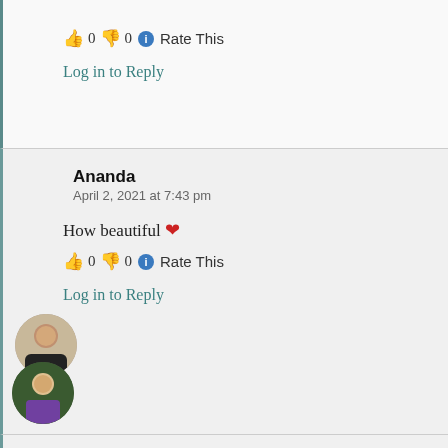👍 0 👎 0 ℹ Rate This
Log in to Reply
Ananda — April 2, 2021 at 7:43 pm
How beautiful ❤
👍 0 👎 0 ℹ Rate This
Log in to Reply
Cynthia Guenther Richardson — April 6, 2021 at 6:01 pm